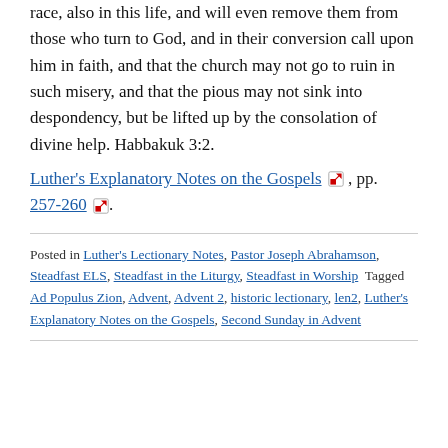race, also in this life, and will even remove them from those who turn to God, and in their conversion call upon him in faith, and that the church may not go to ruin in such misery, and that the pious may not sink into despondency, but be lifted up by the consolation of divine help. Habbakuk 3:2.
Luther's Explanatory Notes on the Gospels [external link] pp. 257-260 [external link].
Posted in Luther's Lectionary Notes, Pastor Joseph Abrahamson, Steadfast ELS, Steadfast in the Liturgy, Steadfast in Worship Tagged Ad Populus Zion, Advent, Advent 2, historic lectionary, len2, Luther's Explanatory Notes on the Gospels, Second Sunday in Advent